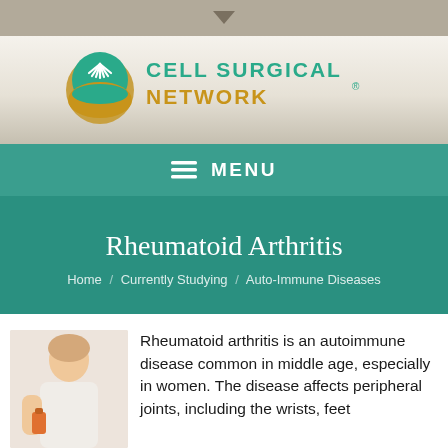[Figure (logo): Cell Surgical Network logo with green and gold globe icon and teal/gold text]
MENU
Rheumatoid Arthritis
Home / Currently Studying / Auto-Immune Diseases
[Figure (photo): Elderly woman holding a medication bottle, white background]
Rheumatoid arthritis is an autoimmune disease common in middle age, especially in women. The disease affects peripheral joints, including the wrists, feet